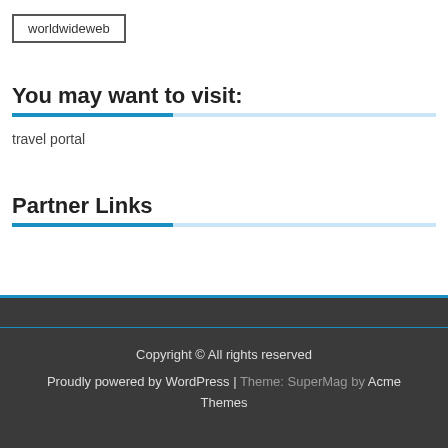worldwideweb
You may want to visit:
travel portal
Partner Links
Copyright © All rights reserved
Proudly powered by WordPress | Theme: SuperMag by Acme Themes